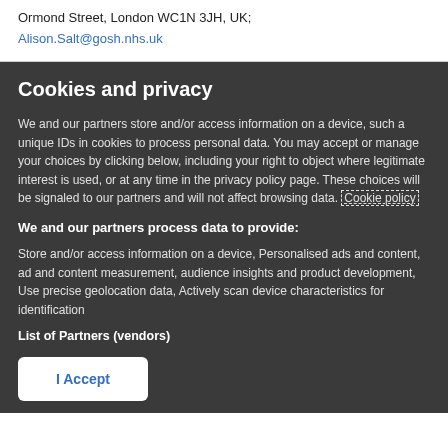Ormond Street, London WC1N 3JH, UK;
Alison.Salt@gosh.nhs.uk
Cookies and privacy
We and our partners store and/or access information on a device, such a unique IDs in cookies to process personal data. You may accept or manage your choices by clicking below, including your right to object where legitimate interest is used, or at any time in the privacy policy page. These choices will be signaled to our partners and will not affect browsing data. Cookie policy
We and our partners process data to provide:
Store and/or access information on a device, Personalised ads and content, ad and content measurement, audience insights and product development, Use precise geolocation data, Actively scan device characteristics for identification
List of Partners (vendors)
I Accept